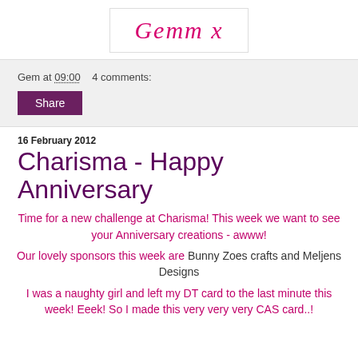[Figure (illustration): Handwritten-style signature reading 'Gemm x' in pink cursive script inside a white box with a light border]
Gem at 09:00    4 comments:
Share
16 February 2012
Charisma - Happy Anniversary
Time for a new challenge at Charisma! This week we want to see your Anniversary creations - awww!
Our lovely sponsors this week are Bunny Zoes crafts and Meljens Designs
I was a naughty girl and left my DT card to the last minute this week! Eeek! So I made this very very very CAS card..!